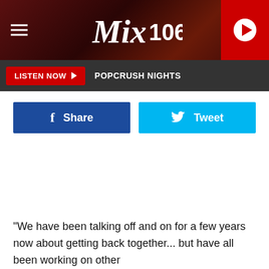[Figure (logo): Mix 106 radio station header with dark red textured background, hamburger menu icon on left, Mix106 logo in center, red play button on right]
[Figure (screenshot): Dark navigation bar with red LISTEN NOW button and POPCRUSH NIGHTS text]
[Figure (infographic): Social share buttons row: blue Facebook Share button and light blue Twitter Tweet button]
"We have been talking off and on for a few years now about getting back together... but have all been working on other